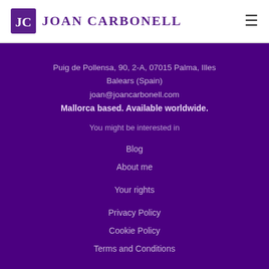Joan Carbonell
Puig de Pollensa, 90, 2-A, 07015 Palma, Illes Balears (Spain)
joan@joancarbonell.com
Mallorca based. Available worldwide.
You might be interested in
Blog
About me
Your rights
Privacy Policy
Cookie Policy
Terms and Conditions